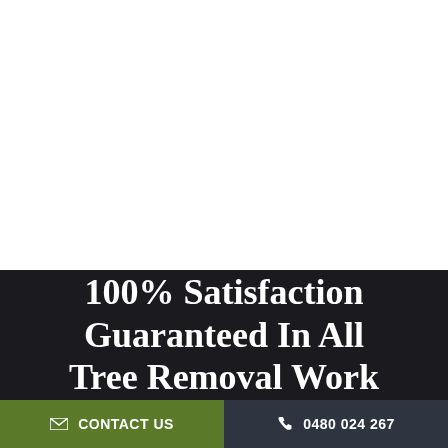[Figure (photo): White/blank upper area of the page]
100% Satisfaction Guaranteed In All Tree Removal Work
CONTACT US
0480 024 267